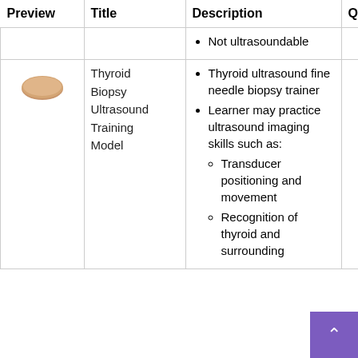| Preview | Title | Description | Quantity | Weblink |
| --- | --- | --- | --- | --- |
|  |  | Not ultrasoundable |  |  |
| [image: thyroid biopsy model] | Thyroid Biopsy Ultrasound Training Model | Thyroid ultrasound fine needle biopsy trainer; Learner may practice ultrasound imaging skills such as: Transducer positioning and movement; Recognition of thyroid and surrounding | 7 | Vi |